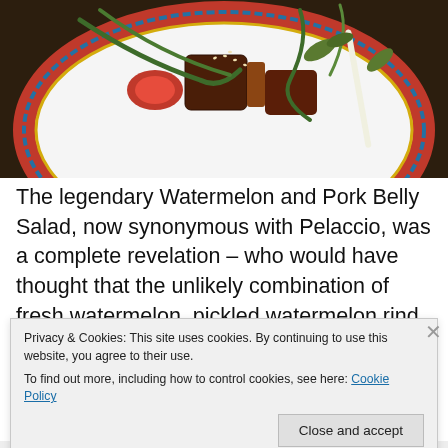[Figure (photo): Photo of a plate with Watermelon and Pork Belly Salad on a decorative Chinese-style red, blue and yellow patterned plate, with crispy pork belly cubes, watermelon, green herbs and sesame seeds, on a dark wooden surface.]
The legendary Watermelon and Pork Belly Salad, now synonymous with Pelaccio, was a complete revelation – who would have thought that the unlikely combination of fresh watermelon, pickled watermelon rind, crisp pork belly
Privacy & Cookies: This site uses cookies. By continuing to use this website, you agree to their use.
To find out more, including how to control cookies, see here: Cookie Policy
Close and accept